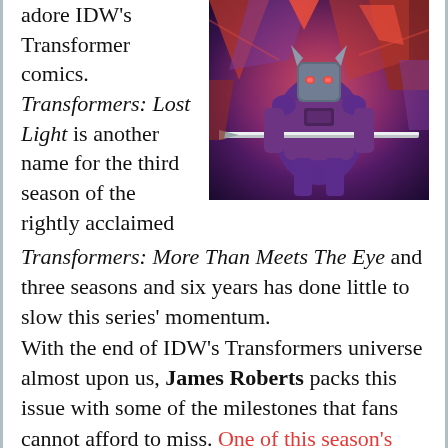adore IDW's Transformer comics. Transformers: Lost Light is another name for the third season of the rightly acclaimed
[Figure (illustration): Comic book cover art showing Transformers characters, featuring a large purple robot in the center with other robots in the background in red and dark tones.]
Transformers: More Than Meets The Eye and three seasons and six years has done little to slow this series' momentum. With the end of IDW's Transformers universe almost upon us, James Roberts packs this issue with some of the milestones that fans cannot afford to miss. One of this season's most beautiful issues starts us off as Roberts and a best of IDW's TF artists show us a journey to the Afterspark,